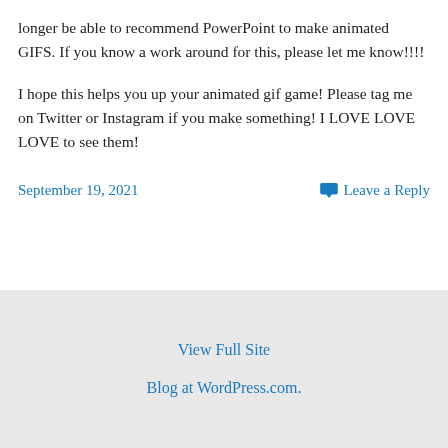longer be able to recommend PowerPoint to make animated GIFS. If you know a work around for this, please let me know!!!!
I hope this helps you up your animated gif game! Please tag me on Twitter or Instagram if you make something! I LOVE LOVE LOVE to see them!
September 19, 2021    Leave a Reply
View Full Site
Blog at WordPress.com.